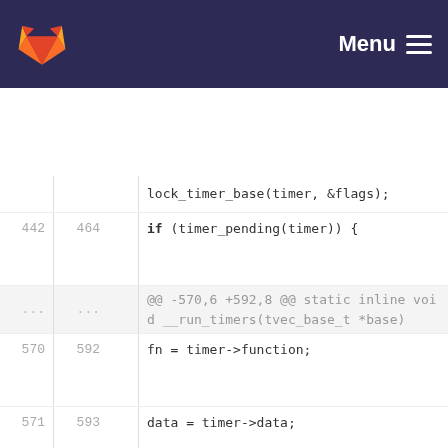GitLab — Menu
[Figure (screenshot): GitLab code diff view showing timer-related kernel code changes. Lines 442-575 (old) / 464-599 (new) shown. Added lines 595-596 with timer_stats_account_timer(timer); call. Context includes lock_timer_base, timer_pending, fn = timer->function, data = timer->data, set_running_timer, detach_timer, spin_unlock_irq calls.]